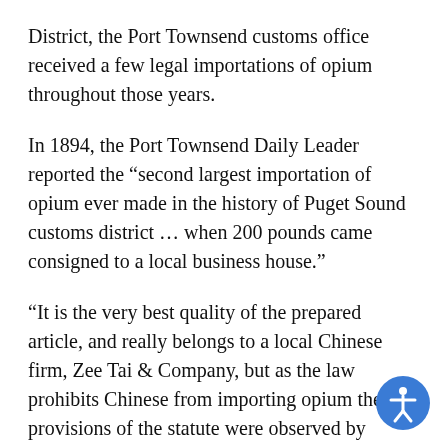District, the Port Townsend customs office received a few legal importations of opium throughout those years.
In 1894, the Port Townsend Daily Leader reported the “second largest importation of opium ever made in the history of Puget Sound customs district … when 200 pounds came consigned to a local business house.”
“It is the very best quality of the prepared article, and really belongs to a local Chinese firm, Zee Tai & Company, but as the law prohibits Chinese from importing opium the provisions of the statute were observed by consigning the drug to Americans.”
The Leader also mentioned that this was the first official importation since six years earlier, which was